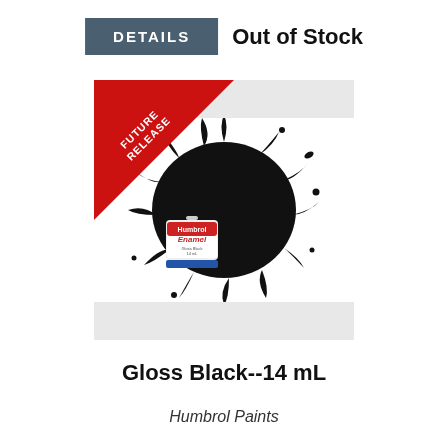DETAILS
Out of Stock
[Figure (photo): Humbrol Enamel paint tin (Gloss Black, 14 mL) shown in front of a black paint splash on a light gray background, with a red diagonal 'FUTURE RELEASE' ribbon banner in the top-left corner.]
Gloss Black--14 mL
Humbrol Paints